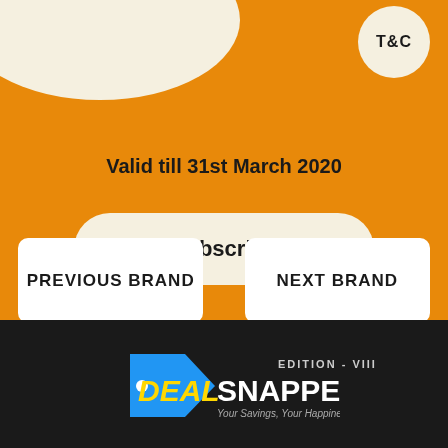T&C
Valid till 31st March 2020
Subscribe
PREVIOUS BRAND
NEXT BRAND
[Figure (logo): DealSnapper logo with tag icon, yellow DEAL text, white SNAPPER text, edition VIII label, tagline Your Savings, Your Happiness...]